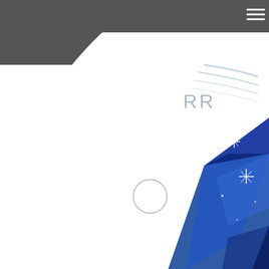[Figure (logo): Dark grey header bar with hamburger menu icon in top right corner]
[Figure (logo): RR Rolls-Royce style logo with curved speed lines and RR text in light grey/silver]
[Figure (illustration): Blue geometric diamond/crystal shape with sparkle star effects in the right side of the page]
[Figure (illustration): Small thin circle outline element in the center-left area of the page]